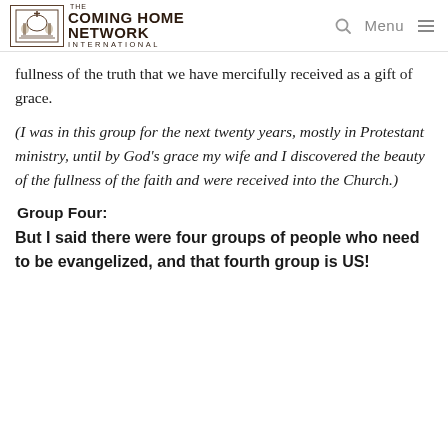The Coming Home Network International — Menu
fullness of the truth that we have mercifully received as a gift of grace.
(I was in this group for the next twenty years, mostly in Protestant ministry, until by God's grace my wife and I discovered the beauty of the fullness of the faith and were received into the Church.)
Group Four:
But I said there were four groups of people who need to be evangelized, and that fourth group is US!